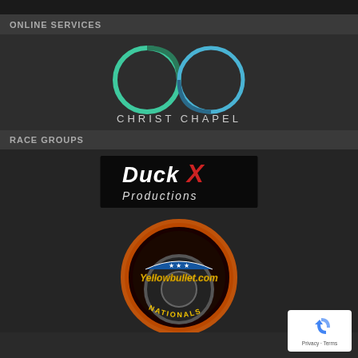ONLINE SERVICES
[Figure (logo): Christ Chapel logo with two interlocking circles in green and blue, with text CHRIST CHAPEL below in white letters on dark background]
RACE GROUPS
[Figure (logo): DuckX Productions logo with stylized text on black background with red X accent]
[Figure (logo): Yellowbullet.com Nationals logo with flaming tire design and American flag motif, circular emblem]
[Figure (other): reCAPTCHA privacy badge with blue recycling icon and Privacy/Terms text]